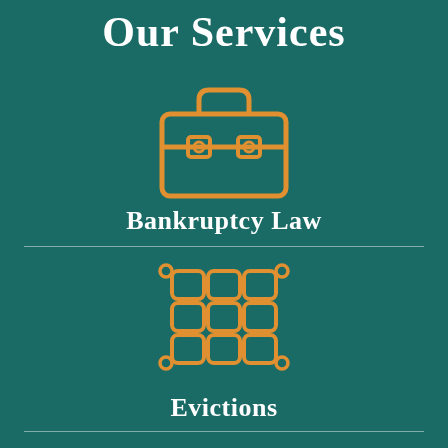Our Services
[Figure (illustration): Orange outline icon of a briefcase/toolbox with clasps and handle]
Bankruptcy Law
[Figure (illustration): Orange outline icon of a grid/mesh pattern representing a fence or net]
Evictions
[Figure (illustration): Partial orange outline icon visible at bottom, likely a vehicle or folder]